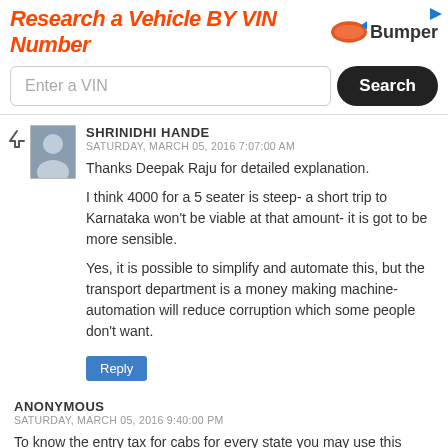[Figure (screenshot): Advertisement banner for Bumper VIN lookup service with orange italic title 'Research a Vehicle BY VIN Number', Bumper logo, a VIN input field and a Search button]
SHRINIDHI HANDE
SATURDAY, MARCH 05, 2016 7:07:00 AM
Thanks Deepak Raju for detailed explanation.

I think 4000 for a 5 seater is steep- a short trip to Karnataka won't be viable at that amount- it is got to be more sensible.

Yes, it is possible to simplify and automate this, but the transport department is a money making machine- automation will reduce corruption which some people don't want.
Reply
ANONYMOUS
SATURDAY, MARCH 05, 2016 9:40:00 PM
To know the entry tax for cabs for every state you may use this string.